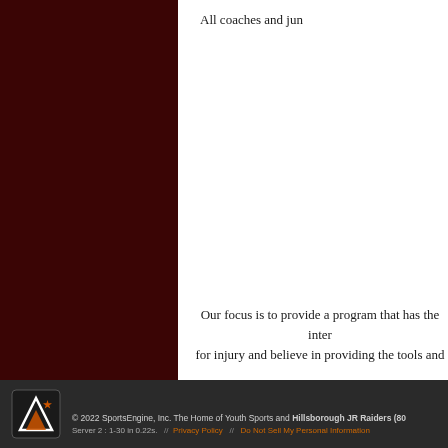All coaches and jun
Our focus is to provide a program that has the inter for injury and believe in providing the tools and edu have put the best available systems in place to pr education are first priority. We believe that the life
We welcome the opportunit
© 2022 SportsEngine, Inc. The Home of Youth Sports and Hillsborough JR Raiders (80 Server 2 : 1-30 in 0.22s. // Privacy Policy // Do Not Sell My Personal Information